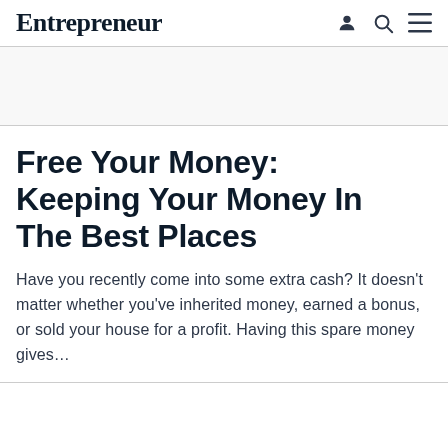Entrepreneur
Free Your Money: Keeping Your Money In The Best Places
Have you recently come into some extra cash? It doesn't matter whether you've inherited money, earned a bonus, or sold your house for a profit. Having this spare money gives…